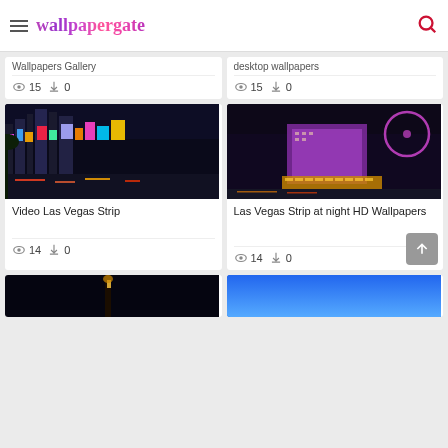wallpapergate
Wallpapers Gallery — views: 15, downloads: 0
desktop wallpapers — views: 15, downloads: 0
[Figure (photo): Las Vegas Strip at night with neon lights and traffic]
Video Las Vegas Strip — views: 14, downloads: 0
[Figure (photo): Las Vegas Strip aerial night view with hotels and Ferris wheel]
Las Vegas Strip at night HD Wallpapers — views: 14, downloads: 0
[Figure (photo): Partial bottom card left — dark night scene]
[Figure (photo): Partial bottom card right — blue sky scene]